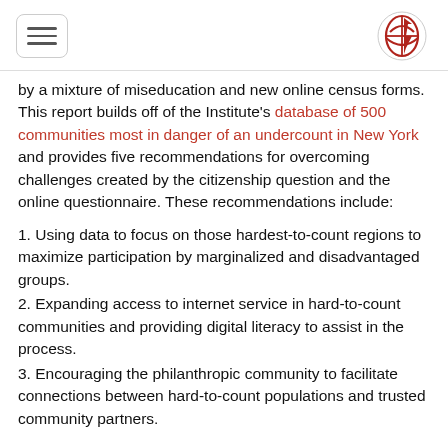[hamburger menu] [NY logo]
by a mixture of miseducation and new online census forms. This report builds off of the Institute's database of 500 communities most in danger of an undercount in New York and provides five recommendations for overcoming challenges created by the citizenship question and the online questionnaire. These recommendations include:
1. Using data to focus on those hardest-to-count regions to maximize participation by marginalized and disadvantaged groups.
2. Expanding access to internet service in hard-to-count communities and providing digital literacy to assist in the process.
3. Encouraging the philanthropic community to facilitate connections between hard-to-count populations and trusted community partners.